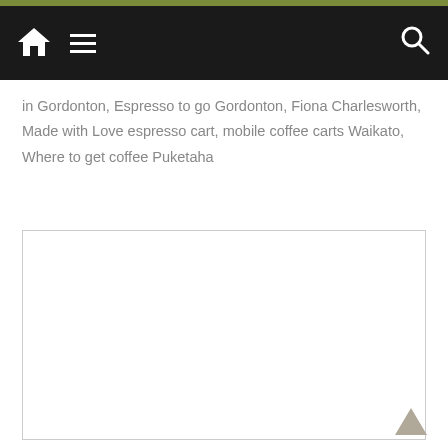Navigation bar with home icon, hamburger menu, and search icon
in Gordonton, Espresso to go Gordonton, Fiona Charlesworth, Made with Love espresso cart, mobile coffee carts Waikato, Where to get coffee Puketaha
[Figure (other): Empty white image placeholder box with a light grey border]